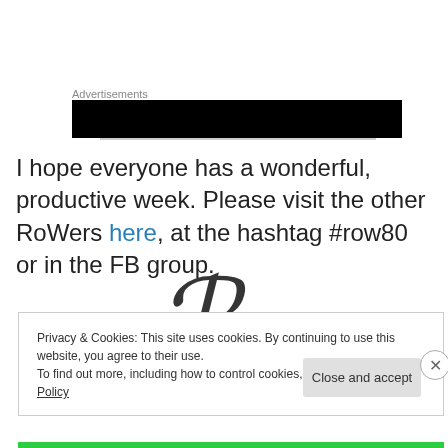Advertisements
[Figure (other): Black advertisement banner block]
I hope everyone has a wonderful, productive week. Please visit the other RoWers here, at the hashtag #row80 or in the FB group.
[Figure (other): Partial decorative script/cursive letter graphic]
Privacy & Cookies: This site uses cookies. By continuing to use this website, you agree to their use.
To find out more, including how to control cookies, see here: Cookie Policy
Close and accept